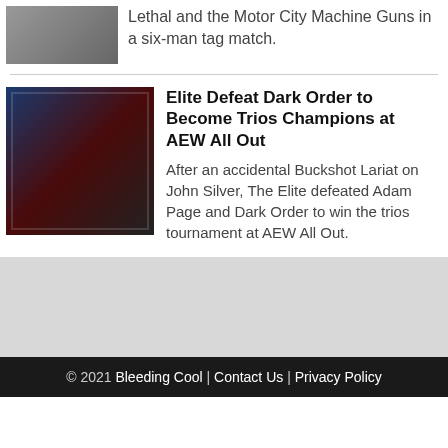Lethal and the Motor City Machine Guns in a six-man tag match.
Elite Defeat Dark Order to Become Trios Champions at AEW All Out
[Figure (photo): Wrestling photo showing The Elite celebrating with trios championship belts at AEW All Out]
After an accidental Buckshot Lariat on John Silver, The Elite defeated Adam Page and Dark Order to win the trios tournament at AEW All Out.
© 2021 Bleeding Cool | Contact Us | Privacy Policy